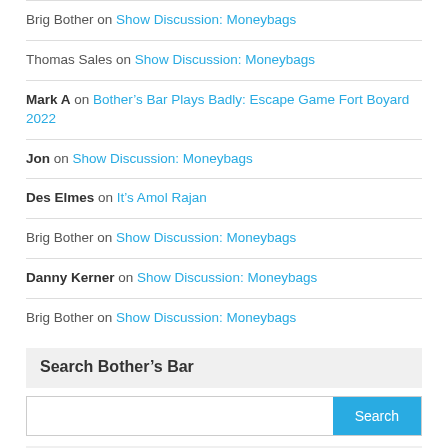Brig Bother on Show Discussion: Moneybags
Thomas Sales on Show Discussion: Moneybags
Mark A on Bother's Bar Plays Badly: Escape Game Fort Boyard 2022
Jon on Show Discussion: Moneybags
Des Elmes on It's Amol Rajan
Brig Bother on Show Discussion: Moneybags
Danny Kerner on Show Discussion: Moneybags
Brig Bother on Show Discussion: Moneybags
Search Bother's Bar
Main
Show Discussion: Moneybags